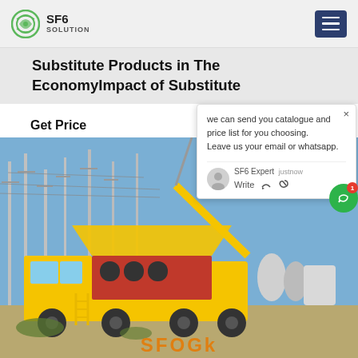SF6 SOLUTION
Substitute Products in The EconomyImpact of Substitute
Get Price
[Figure (screenshot): Chat popup overlay showing message: 'we can send you catalogue and price list for you choosing. Leave us your email or whatsapp.' with SF6 Expert label and justnow timestamp, Write field with like and attachment icons]
[Figure (photo): Yellow SF6 service truck with crane/boom arm extended, parked at electrical substation with power transmission towers in background. Orange brand watermark text partially visible at bottom.]